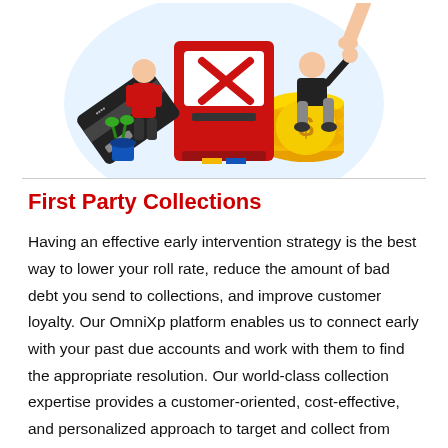[Figure (illustration): Illustration showing two people with a large red ATM/kiosk machine displaying an X error symbol, a declined credit card, and stacks of gold coins with a dollar sign. Blue background circle behind the scene.]
First Party Collections
Having an effective early intervention strategy is the best way to lower your roll rate, reduce the amount of bad debt you send to collections, and improve customer loyalty. Our OmniXp platform enables us to connect early with your past due accounts and work with them to find the appropriate resolution. Our world-class collection expertise provides a customer-oriented, cost-effective, and personalized approach to target and collect from customers in their earlier stages of delinquency. This is what makes us the best...